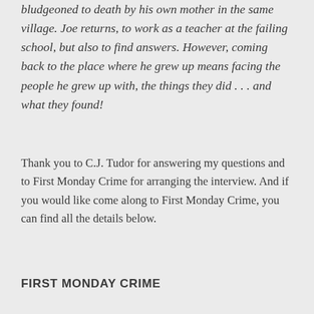bludgeoned to death by his own mother in the same village. Joe returns, to work as a teacher at the failing school, but also to find answers. However, coming back to the place where he grew up means facing the people he grew up with, the things they did . . . and what they found!
Thank you to C.J. Tudor for answering my questions and to First Monday Crime for arranging the interview. And if you would like come along to First Monday Crime, you can find all the details below.
FIRST MONDAY CRIME